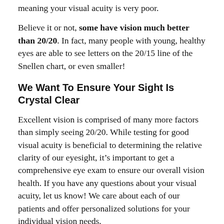meaning your visual acuity is very poor.
Believe it or not, some have vision much better than 20/20. In fact, many people with young, healthy eyes are able to see letters on the 20/15 line of the Snellen chart, or even smaller!
We Want To Ensure Your Sight Is Crystal Clear
Excellent vision is comprised of many more factors than simply seeing 20/20. While testing for good visual acuity is beneficial to determining the relative clarity of our eyesight, it’s important to get a comprehensive eye exam to ensure our overall vision health. If you have any questions about your visual acuity, let us know! We care about each of our patients and offer personalized solutions for your individual vision needs.
Thank you for being part of our